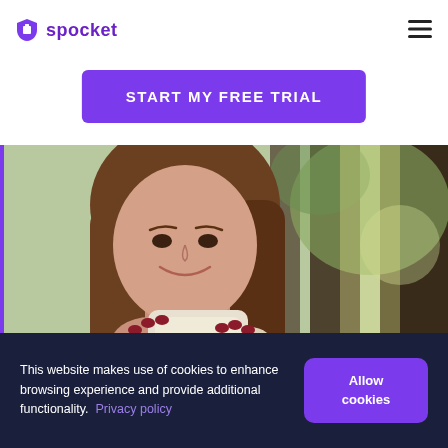spocket
START MY FREE TRIAL
[Figure (photo): Woman smiling and holding a white coffee cup, with greenery and dark wooden structures in the background]
This website makes use of cookies to enhance browsing experience and provide additional functionality. Privacy policy
Allow cookies